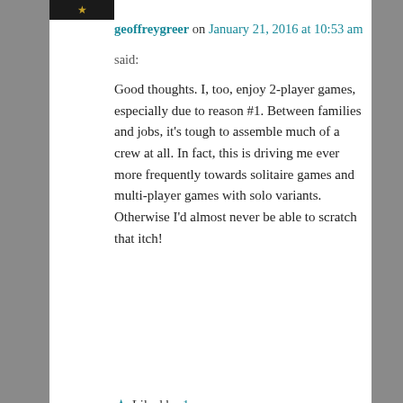[Figure (photo): Small dark avatar/thumbnail image with a star/crown icon]
geoffreygreer on January 21, 2016 at 10:53 am said:
Good thoughts. I, too, enjoy 2-player games, especially due to reason #1. Between families and jobs, it's tough to assemble much of a crew at all. In fact, this is driving me ever more frequently towards solitaire games and multi-player games with solo variants. Otherwise I'd almost never be able to scratch that itch!
★ Liked by 1 person
Reply ↓
Privacy & Cookies: This site uses cookies. By continuing to use this website, you agree to their use.
To find out more, including how to control cookies, see here:
Cookie Policy
Close and accept